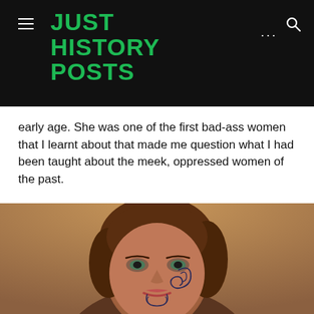JUST HISTORY POSTS
early age. She was one of the first bad-ass women that I learnt about that made me question what I had been taught about the meek, oppressed women of the past.
[Figure (photo): Portrait of a woman with curly reddish-brown hair and a traditional Māori tā moko (facial tattoo) featuring spiral patterns on her chin and cheek, looking directly at the camera.]